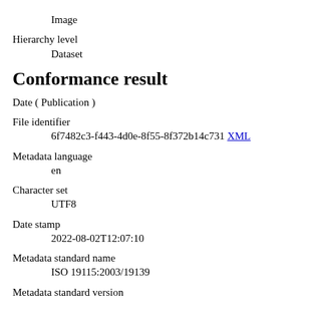Image
Hierarchy level
        Dataset
Conformance result
Date ( Publication )
File identifier
        6f7482c3-f443-4d0e-8f55-8f372b14c731 XML
Metadata language
        en
Character set
        UTF8
Date stamp
        2022-08-02T12:07:10
Metadata standard name
        ISO 19115:2003/19139
Metadata standard version